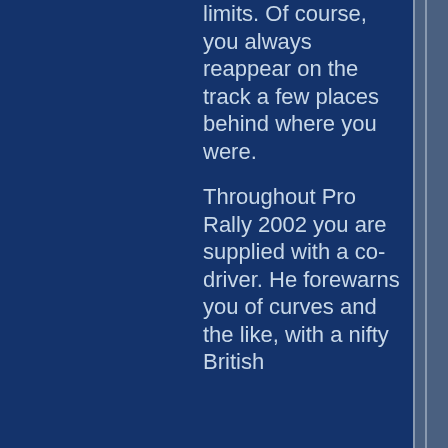limits. Of course, you always reappear on the track a few places behind where you were.
Throughout Pro Rally 2002 you are supplied with a co-driver. He forewarns you of curves and the like, with a nifty British